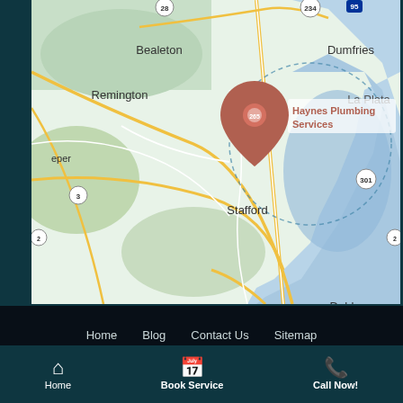[Figure (map): Google Maps showing Haynes Plumbing Services location pin near Stafford, VA area. Visible places include Bealeton, Remington, Dumfries, La Plata, Stafford, Locust Grove, Fredericksburg, Dahlgren, King George. Roads shown include US-28, VA-234, I-95, US-3, US-301.]
Home   Blog   Contact Us   Sitemap
© 2022 Haynes Plumbing LLC – All Rights Reserved. Supported by DP Marketing.Services
Home
Book Service
Call Now!